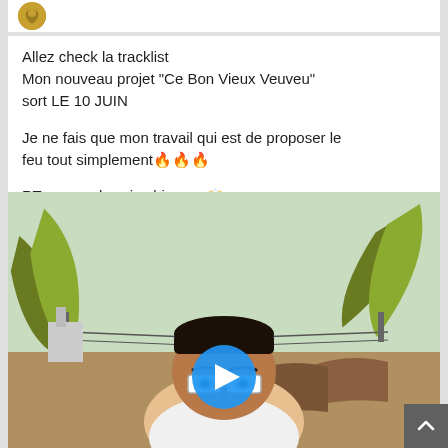Allez check la tracklist
Mon nouveau projet "Ce Bon Vieux Veuveu" sort LE 10 JUIN

Je ne fais que mon travail qui est de proposer le feu tout simplement 🔥🔥🔥

RT au max les zins bien vu 🙌
[Figure (illustration): Cartoon/comic illustration of a dark-skinned man wearing white glasses, looking upward, with banana leaf shapes in background and a sky. A blue circular play button is overlaid in the center.]